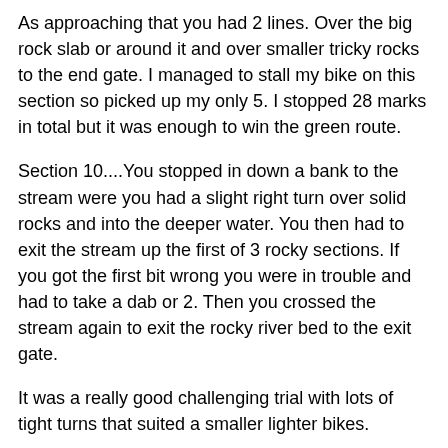As approaching that you had 2 lines. Over the big rock slab or around it and over smaller tricky rocks to the end gate. I managed to stall my bike on this section so picked up my only 5. I stopped 28 marks in total but it was enough to win the green route.
Section 10....You stopped in down a bank to the stream were you had a slight right turn over solid rocks and into the deeper water. You then had to exit the stream up the first of 3 rocky sections. If you got the first bit wrong you were in trouble and had to take a dab or 2. Then you crossed the stream again to exit the rocky river bed to the exit gate.
It was a really good challenging trial with lots of tight turns that suited a smaller lighter bikes.
Rob Sloggett – Observer (Section 5)
“Have a look at the white route when you get down there, if it